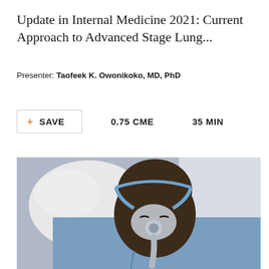Update in Internal Medicine 2021: Current Approach to Advanced Stage Lung...
Presenter: Taofeek K. Owonikoko, MD, PhD
+ SAVE   0.75 CME   35 MIN
[Figure (photo): A man lying in bed wearing a CPAP breathing mask, dressed in a light blue shirt, resting on white pillows.]